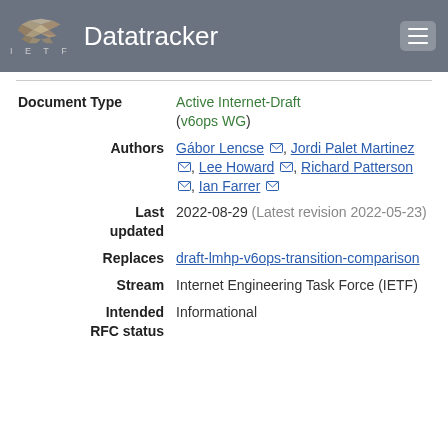IETF Datatracker
| Field | Value |
| --- | --- |
| Document Type | Active Internet-Draft (v6ops WG) |
| Authors | Gábor Lencse, Jordi Palet Martinez, Lee Howard, Richard Patterson, Ian Farrer |
| Last updated | 2022-08-29 (Latest revision 2022-05-23) |
| Replaces | draft-lmhp-v6ops-transition-comparison |
| Stream | Internet Engineering Task Force (IETF) |
| Intended RFC status | Informational |